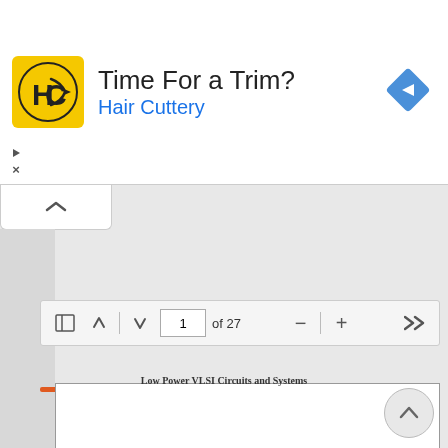[Figure (screenshot): Web browser screenshot showing a Hair Cuttery advertisement banner at the top with logo, title 'Time For a Trim?', subtitle 'Hair Cuttery', a navigation diamond icon on the right, and browser UI controls. Below is a PDF viewer toolbar with navigation buttons, page input showing '1 of 27', zoom controls, and an orange progress bar. The bottom shows the top of a PDF page with text 'Low Power VLSI Circuits and Systems'.]
Low Power VLSI Circuits and Systems